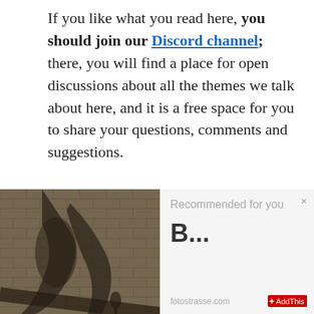If you like what you read here, you should join our Discord channel; there, you will find a place for open discussions about all the themes we talk about here, and it is a free space for you to share your questions, comments and suggestions.
If you are not a fan of the platform
[Figure (photo): Photo of figures on the exterior of a brick building]
Recommended for you
B...
fotostrasse.com
AddThis